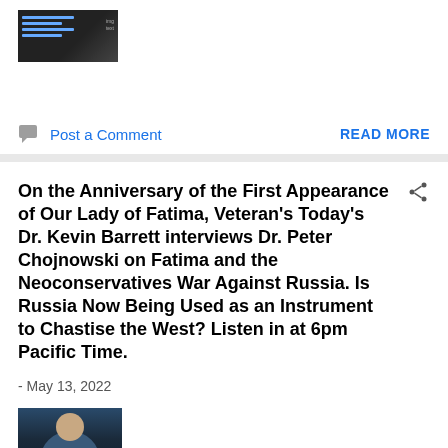[Figure (photo): Small thumbnail image with dark background showing text overlay and image content]
Post a Comment
READ MORE
On the Anniversary of the First Appearance of Our Lady of Fatima, Veteran's Today's Dr. Kevin Barrett interviews Dr. Peter Chojnowski on Fatima and the Neoconservatives War Against Russia. Is Russia Now Being Used as an Instrument to Chastise the West? Listen in at 6pm Pacific Time.
- May 13, 2022
[Figure (photo): Partial thumbnail photo of a person, appears to be a man]